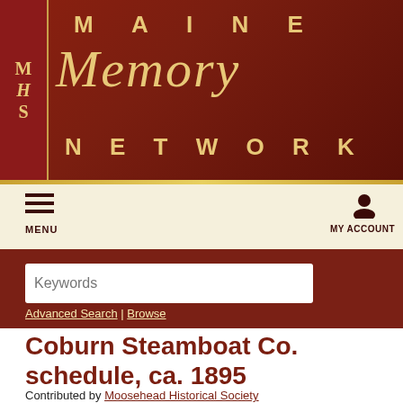[Figure (logo): Maine Memory Network website header banner with MHS logo on left and stylized 'Maine Memory Network' text in gold on dark red background]
MENU   MY ACCOUNT
[Figure (screenshot): Search bar with Keywords input field, Search button with magnifying glass icon, Advanced Search and Browse links]
Coburn Steamboat Co. schedule, ca. 1895
Contributed by Moosehead Historical Society
[Figure (screenshot): Partial document viewer showing dark image area with book view and fullscreen controls]